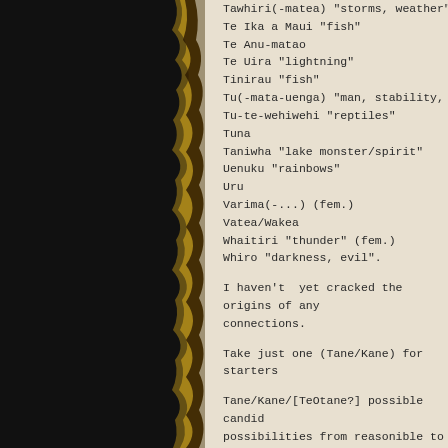Tawhiri(-matea) "storms, weather"
Te Ika a Maui "fish"
Te Anu-matao
Te Uira "lightning"
Tinirau "fish"
Tu(-mata-uenga) "man, stability, war"
Tu-te-wehiwehi "reptiles"
Tuna
Taniwha "lake monster/spirit"
Uenuku "rainbows"
Uru
Varima(-...) (fem.)
Vatea/Wakea
Whaitiri "thunder" (fem.)
Whiro "darkness, evil".
I haven't  yet cracked the origins of any connections.
Take just one (Tane/Kane) for starters
Tane/Kane/[TeOtane?] possible candidates possibilities from reasonible to absurd): Ziana (spirit of heaven, Chaldean/Sumerian) (Micronesian)?  Odanie (lord of light, S Kan (Mayan)? Kon (Peruvian)? Kane